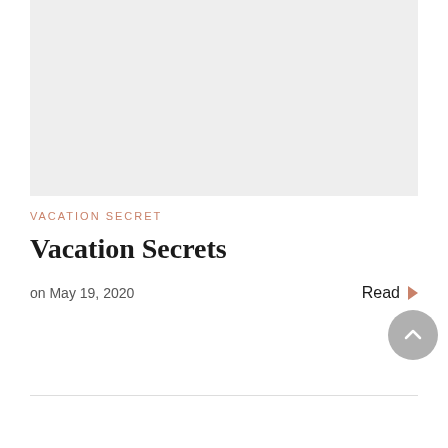[Figure (photo): Light gray image placeholder rectangle at top of page]
VACATION SECRET
Vacation Secrets
on May 19, 2020
Read ▶